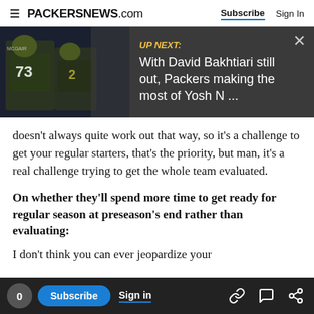PACKERSNEWS.com  Subscribe  Sign In
[Figure (screenshot): UP NEXT: With David Bakhtiari still out, Packers making the most of Yosh N ... — video thumbnail with Green Bay Packers players]
doesn't always quite work out that way, so it's a challenge to get your regular starters, that's the priority, but man, it's a real challenge trying to get the whole team evaluated.
On whether they'll spend more time to get ready for regular season at preseason's end rather than evaluating:
I don't think you can ever jeopardize your
or time to make those decisions, and you don't